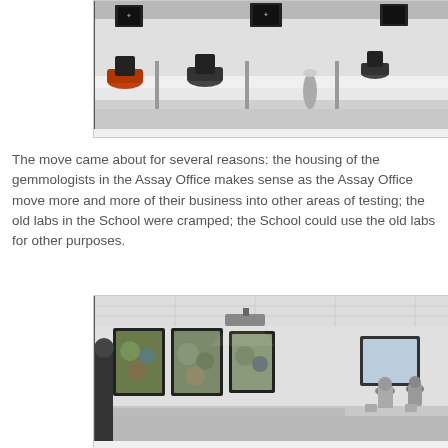[Figure (photo): Interior photo of a computer lab or examination room with white desks in rows, black office chairs, dividers, and framed artwork on the wall.]
The move came about for several reasons: the housing of the gemmologists in the Assay Office makes sense as the Assay Office move more and more of their business into other areas of testing; the old labs in the School were cramped; the School could use the old labs for other purposes.
[Figure (photo): Interior photo of a classroom or lab with large projection screens on the wall showing images of gemstones or minerals, a projector mounted on the ceiling, and people visible in the background.]